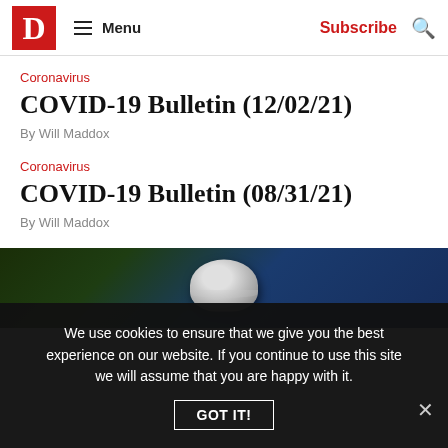D | Menu | Subscribe
Coronavirus
COVID-19 Bulletin (12/02/21)
By Will Maddox
Coronavirus
COVID-19 Bulletin (08/31/21)
By Will Maddox
[Figure (photo): Sports photo showing a football helmet against a blue and green background]
We use cookies to ensure that we give you the best experience on our website. If you continue to use this site we will assume that you are happy with it.
GOT IT!